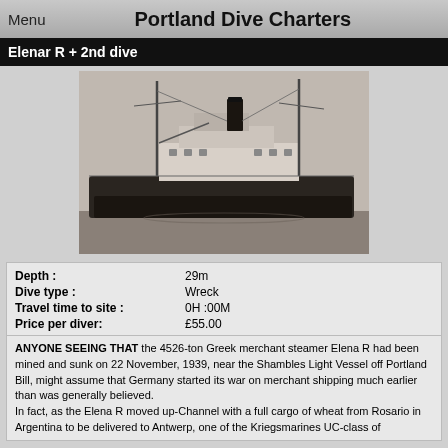Menu  Portland Dive Charters
Elenar R + 2nd dive
[Figure (photo): Black and white photograph of the Greek merchant steamer Elena R, a cargo vessel with masts and a smokestack, photographed from the side in harbor or at sea.]
| Depth : | 29m |
| Dive type : | Wreck |
| Travel time to site : | 0H :00M |
| Price per diver: | £55.00 |
ANYONE SEEING THAT the 4526-ton Greek merchant steamer Elena R had been mined and sunk on 22 November, 1939, near the Shambles Light Vessel off Portland Bill, might assume that Germany started its war on merchant shipping much earlier than was generally believed.
In fact, as the Elena R moved up-Channel with a full cargo of wheat from Rosario in Argentina to be delivered to Antwerp, one of the Kriegsmarines UC-class of